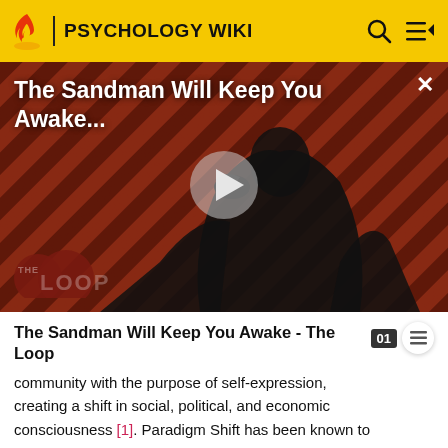PSYCHOLOGY WIKI
[Figure (screenshot): Video thumbnail for 'The Sandman Will Keep You Awake...' showing a dark figure in a black cape against a red diagonal striped background, with a play button overlay and 'THE LOOP' logo at bottom left. A close (X) button is at top right.]
The Sandman Will Keep You Awake - The Loop
community with the purpose of self-expression, creating a shift in social, political, and economic consciousness [1]. Paradigm Shift has been known to have open mics across New York City, open artistic